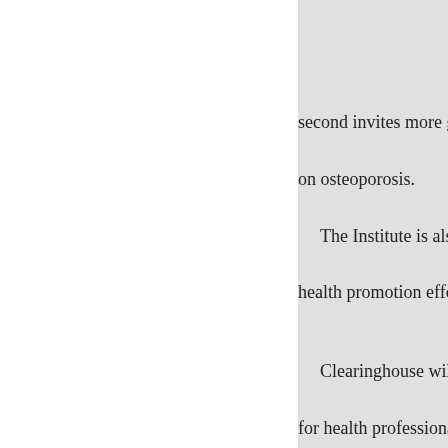second invites more grant applic
on osteoporosis.
The Institute is also stepping u
health promotion efforts with reg
Clearinghouse will expand its
for health professionals.
Projects to inform consumers a
preventive measures, and resear
There are more than 100 kinds body including important suppor